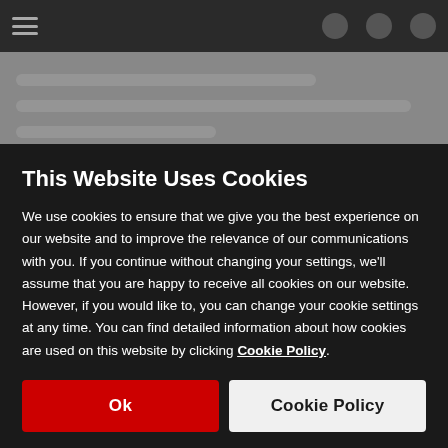[Figure (screenshot): Blurred dark background showing a website with a navigation bar and list items, partially visible behind the cookie consent overlay]
This Website Uses Cookies
We use cookies to ensure that we give you the best experience on our website and to improve the relevance of our communications with you. If you continue without changing your settings, we'll assume that you are happy to receive all cookies on our website. However, if you would like to, you can change your cookie settings at any time. You can find detailed information about how cookies are used on this website by clicking Cookie Policy.
Ok
Cookie Policy